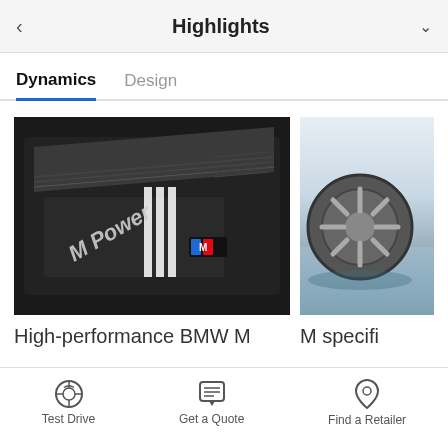Highlights
Dynamics	Design
[Figure (photo): BMW M Power engine close-up photo showing dark engine cover with 'M Power' text and BMW M logo with blue/red/dark stripes]
[Figure (photo): BMW M specific wheel/suspension component photo on reflective surface with light background]
High-performance BMW M
M specifi…
Test Drive	Get a Quote	Find a Retailer